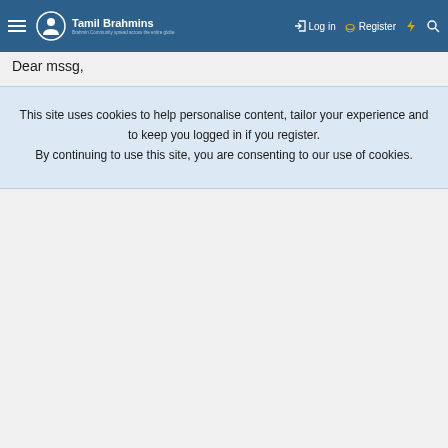Tamil Brahmins — Log in | Register
Dear mssg,
This site uses cookies to help personalise content, tailor your experience and to keep you logged in if you register.
By continuing to use this site, you are consenting to our use of cookies.